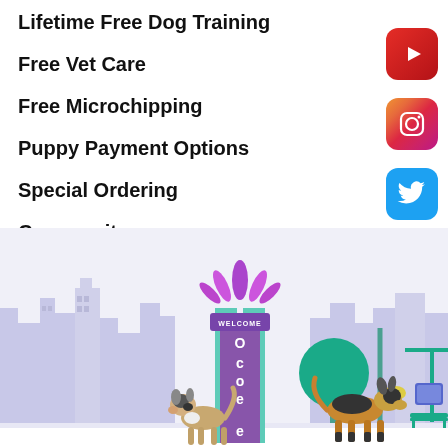Lifetime Free Dog Training
Free Vet Care
Free Microchipping
Puppy Payment Options
Special Ordering
Community
[Figure (illustration): City scene with Welcome to Ocoee sign, two dogs walking, teal trees, bus stop bench, and purple city skyline silhouette in background]